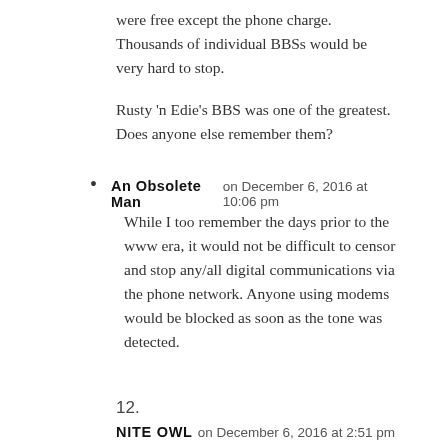were free except the phone charge. Thousands of individual BBSs would be very hard to stop.
Rusty 'n Edie's BBS was one of the greatest. Does anyone else remember them?
An Obsolete Man on December 6, 2016 at 10:06 pm
While I too remember the days prior to the www era, it would not be difficult to censor and stop any/all digital communications via the phone network. Anyone using modems would be blocked as soon as the tone was detected.
12.
NITE OWL on December 6, 2016 at 2:51 pm
Shoot I have never used facebook why should